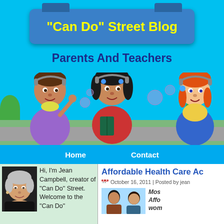"Can Do" Street Blog
Parents And Teachers
[Figure (illustration): Cartoon illustration of three children on a street scene with green grass and blue sky background. A boy in purple shirt on the left, a girl in red outfit in the center holding a book, and a girl with red pigtails on the right.]
Home   Contact
[Figure (photo): Photo of Jean Campbell, a woman with short gray hair, smiling]
Hi, I'm Jean Campbell, creator of "Can Do" Street. Welcome to the "Can Do"
Affordable Health Care Ac
October 16, 2011 | Posted by jean
[Figure (illustration): Small illustration showing cartoon characters, partially visible]
Mos Affo wom